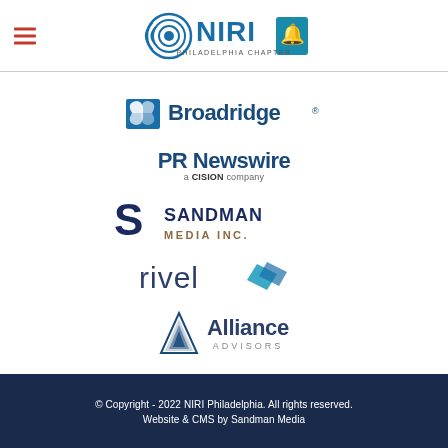[Figure (logo): NIRI Philadelphia Chapter logo - circular wave graphic with NIRI text and liberty bell icon]
[Figure (logo): Broadridge logo - blue butterfly/leaf icon with Broadridge wordmark]
[Figure (logo): PR Newswire a CISION company logo]
[Figure (logo): Sandman Media Inc. logo - S icon with bold uppercase text]
[Figure (logo): rivel logo - lowercase rivel text with blue diamond/arrow shape]
[Figure (logo): Alliance Advisors logo - layered triangle icon with text]
© Copyright - 2022 NIRI Philadelphia. All rights reserved.
Website & CMS by Sandman Media